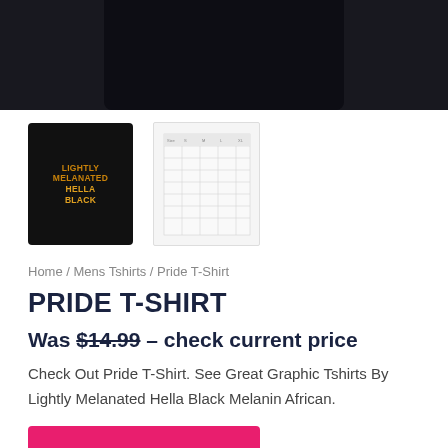[Figure (photo): Main product image of a black t-shirt (top portion visible, dark background)]
[Figure (photo): Thumbnail of black t-shirt with 'LIGHTLY MELANATED HELLA BLACK' text in orange/gold lettering]
[Figure (table-as-image): Size chart thumbnail image]
Home / Mens Tshirts / Pride T-Shirt
PRIDE T-SHIRT
Was $14.99 – check current price
Check Out Pride T-Shirt. See Great Graphic Tshirts By Lightly Melanated Hella Black Melanin African.